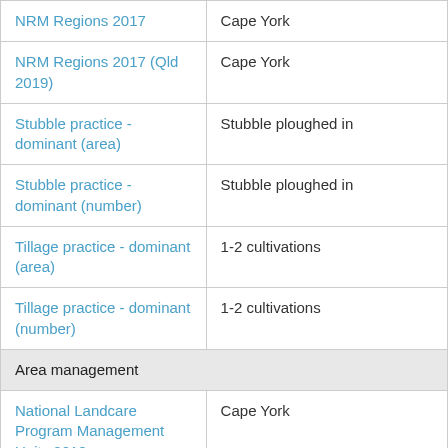| Category | Value |
| --- | --- |
| NRM Regions 2017 | Cape York |
| NRM Regions 2017 (Qld 2019) | Cape York |
| Stubble practice - dominant (area) | Stubble ploughed in |
| Stubble practice - dominant (number) | Stubble ploughed in |
| Tillage practice - dominant (area) | 1-2 cultivations |
| Tillage practice - dominant (number) | 1-2 cultivations |
| Area management |  |
| National Landcare Program Management Units 2018 | Cape York |
| Biodiversity |  |
| Freshwater Ecoregions of the World | Arafura - Carpentaria |